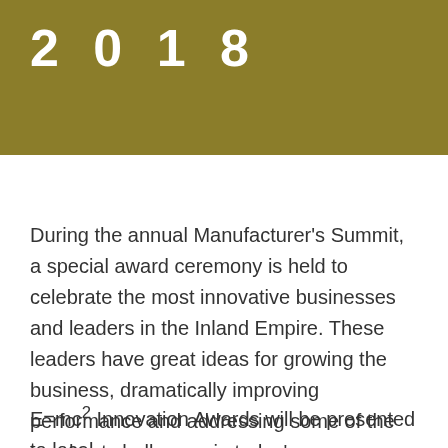2018
During the annual Manufacturer’s Summit, a special award ceremony is held to celebrate the most innovative businesses and leaders in the Inland Empire. These leaders have great ideas for growing the business, dramatically improving performance and addressing some of the toughest challenges in today’s manufacturing industry.
E=mc² Innovation Awards will be presented to local